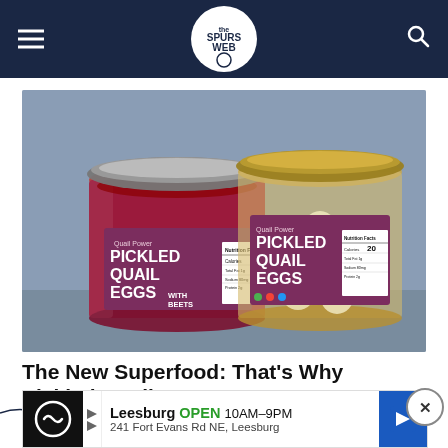The Spurs Web - header navigation
[Figure (photo): Two jars of Quail Power brand Pickled Quail Eggs — one with beets (red/purple liquid, left) and one plain (golden liquid, right), both showing purple product labels with white text.]
The New Superfood: That's Why Pickled Quail Eggs Are Great
Dth | Sponsored
[Figure (infographic): Advertisement banner: Leesburg OPEN 10AM-9PM, 241 Fort Evans Rd NE, Leesburg with navigation arrow icon]